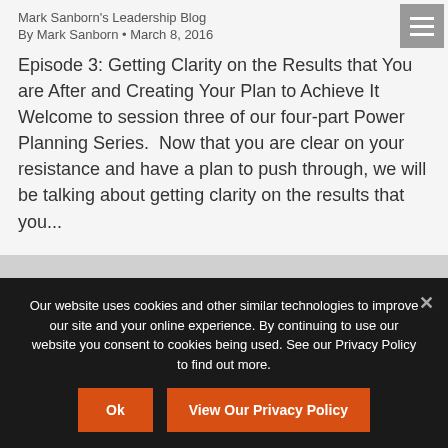Mark Sanborn's Leadership Blog
By Mark Sanborn • March 8, 2016
Episode 3: Getting Clarity on the Results that You are After and Creating Your Plan to Achieve It Welcome to session three of our four-part Power Planning Series.  Now that you are clear on your resistance and have a plan to push through, we will be talking about getting clarity on the results that you...
Our website uses cookies and other similar technologies to improve our site and your online experience. By continuing to use our website you consent to cookies being used. See our Privacy Policy to find out more.
Ok
View Our Privacy Policy